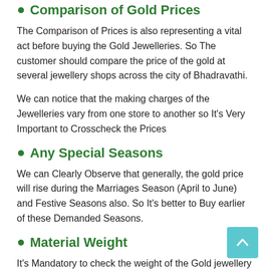Comparison of Gold Prices
The Comparison of Prices is also representing a vital act before buying the Gold Jewelleries. So The customer should compare the price of the gold at several jewellery shops across the city of Bhadravathi.
We can notice that the making charges of the Jewelleries vary from one store to another so It's Very Important to Crosscheck the Prices
Any Special Seasons
We can Clearly Observe that generally, the gold price will rise during the Marriages Season (April to June) and Festive Seasons also. So It's better to Buy earlier of these Demanded Seasons.
Material Weight
It's Mandatory to check the weight of the Gold jewellery before making a purchase. We should check that the price of the Gold